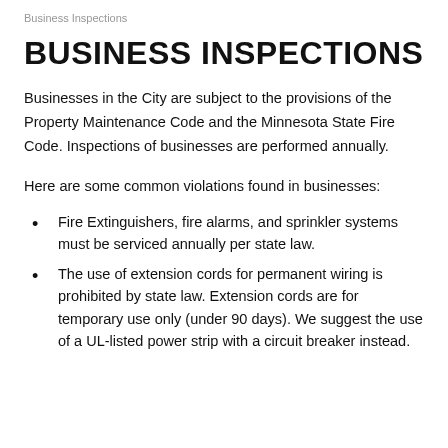Business Inspections
BUSINESS INSPECTIONS
Businesses in the City are subject to the provisions of the Property Maintenance Code and the Minnesota State Fire Code. Inspections of businesses are performed annually.
Here are some common violations found in businesses:
Fire Extinguishers, fire alarms, and sprinkler systems must be serviced annually per state law.
The use of extension cords for permanent wiring is prohibited by state law. Extension cords are for temporary use only (under 90 days). We suggest the use of a UL-listed power strip with a circuit breaker instead.